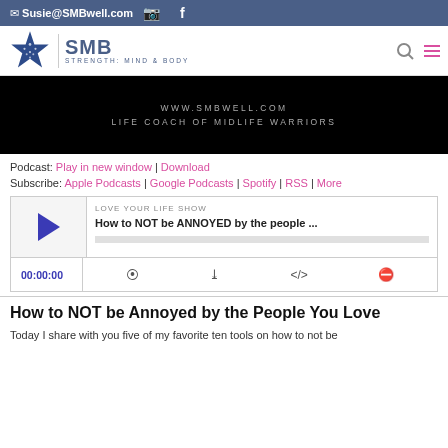✉ Susie@SMBwell.com
[Figure (logo): SMB Strength Mind & Body logo with star icon]
[Figure (screenshot): Video thumbnail black background with text WWW.SMBWELL.COM LIFE COACH OF MIDLIFE WARRIORS]
Podcast: Play in new window | Download
Subscribe: Apple Podcasts | Google Podcasts | Spotify | RSS | More
[Figure (screenshot): Audio podcast player showing LOVE YOUR LIFE SHOW - How to NOT be ANNOYED by the people... with play button and time 00:00:00]
How to NOT be Annoyed by the People You Love
Today I share with you five of my favorite ten tools on how to not be